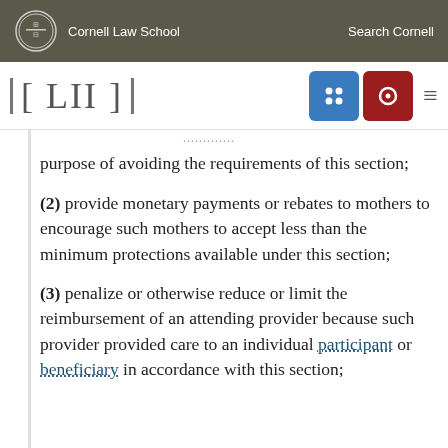Cornell Law School  |  Search Cornell
[LII]
purpose of avoiding the requirements of this section;
(2) provide monetary payments or rebates to mothers to encourage such mothers to accept less than the minimum protections available under this section;
(3) penalize or otherwise reduce or limit the reimbursement of an attending provider because such provider provided care to an individual participant or beneficiary in accordance with this section;